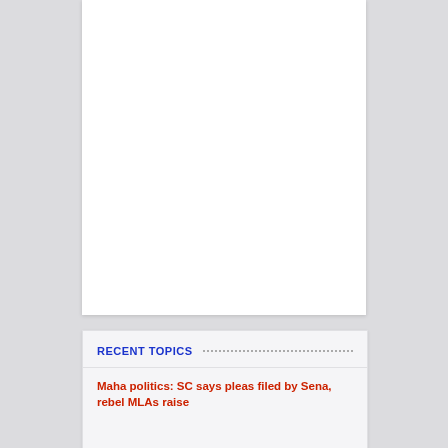[Figure (other): White blank card/image placeholder at top center of page]
RECENT TOPICS
Maha politics: SC says pleas filed by Sena, rebel MLAs raise